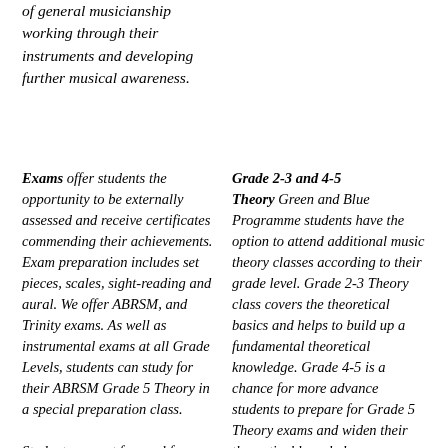of general musicianship working through their instruments and developing further musical awareness.
Exams offer students the opportunity to be externally assessed and receive certificates commending their achievements. Exam preparation includes set pieces, scales, sight-reading and aural. We offer ABRSM, and Trinity exams. As well as instrumental exams at all Grade Levels, students can study for their ABRSM Grade 5 Theory in a special preparation class. Students are put forward for
Grade 2-3 and 4-5 Theory Green and Blue Programme students have the option to attend additional music theory classes according to their grade level. Grade 2-3 Theory class covers the theoretical basics and helps to build up a fundamental theoretical knowledge. Grade 4-5 is a chance for more advance students to prepare for Grade 5 Theory exams and widen their theoretical knowledge